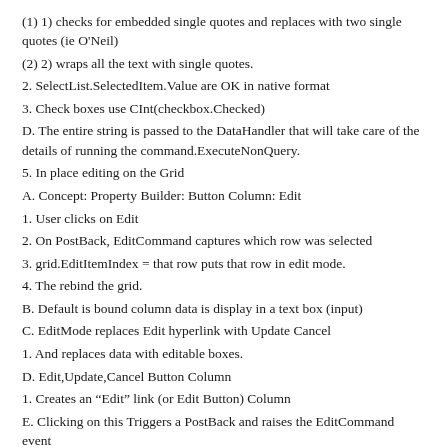(1) 1) checks for embedded single quotes and replaces with two single quotes (ie O'Neil)
(2) 2) wraps all the text with single quotes.
2. SelectList.SelectedItem.Value are OK in native format
3. Check boxes use CInt(checkbox.Checked)
D. The entire string is passed to the DataHandler that will take care of the details of running the command.ExecuteNonQuery.
5. In place editing on the Grid
A. Concept: Property Builder: Button Column: Edit
1. User clicks on Edit
2. On PostBack, EditCommand captures which row was selected
3. grid.EditItemIndex = that row puts that row in edit mode.
4. The rebind the grid.
B. Default is bound column data is display in a text box (input)
C. EditMode replaces Edit hyperlink with Update Cancel
1. And replaces data with editable boxes.
D. Edit,Update,Cancel Button Column
1. Creates an “Edit” link (or Edit Button) Column
E. Clicking on this Triggers a PostBack and raises the EditCommand event
1. and returns which row has been clicked on. (.ItemIndex)
F. To trigger the edit set the EditItemIndex to the row selected
1. grid.EditItemIndex = e.Item.ItemIndex